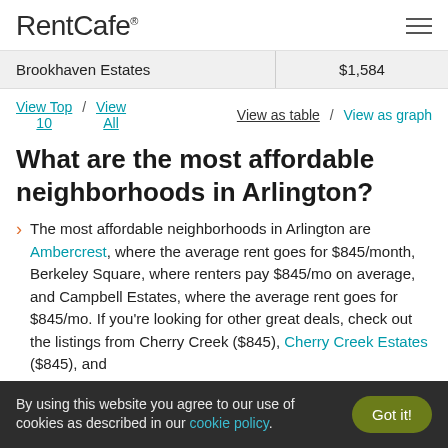RentCafe
| Neighborhood | Price |
| --- | --- |
| Brookhaven Estates | $1,584 |
View Top 10 / View All  |  View as table / View as graph
What are the most affordable neighborhoods in Arlington?
The most affordable neighborhoods in Arlington are Ambercrest, where the average rent goes for $845/month, Berkeley Square, where renters pay $845/mo on average, and Campbell Estates, where the average rent goes for $845/mo. If you're looking for other great deals, check out the listings from Cherry Creek ($845), Cherry Creek Estates ($845), and
By using this website you agree to our use of cookies as described in our cookie policy.